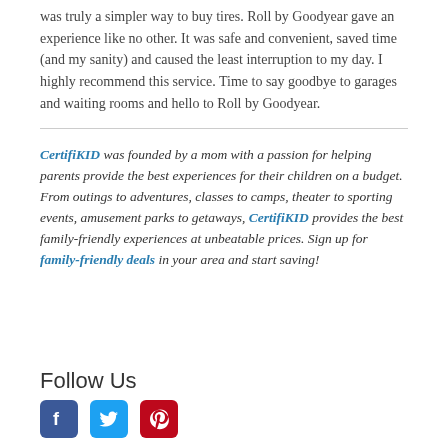was truly a simpler way to buy tires. Roll by Goodyear gave an experience like no other. It was safe and convenient, saved time (and my sanity) and caused the least interruption to my day. I highly recommend this service. Time to say goodbye to garages and waiting rooms and hello to Roll by Goodyear.
CertifiKID was founded by a mom with a passion for helping parents provide the best experiences for their children on a budget. From outings to adventures, classes to camps, theater to sporting events, amusement parks to getaways, CertifiKID provides the best family-friendly experiences at unbeatable prices. Sign up for family-friendly deals in your area and start saving!
Follow Us